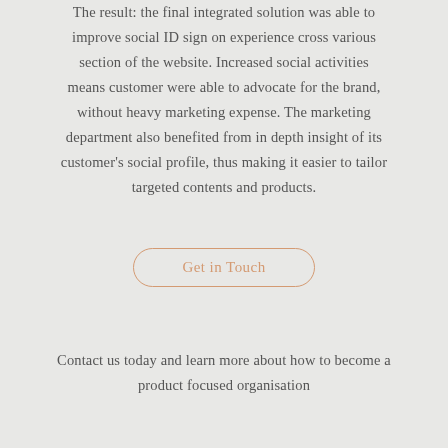The result: the final integrated solution was able to improve social ID sign on experience cross various section of the website. Increased social activities means customer were able to advocate for the brand, without heavy marketing expense. The marketing department also benefited from in depth insight of its customer's social profile, thus making it easier to tailor targeted contents and products.
Get in Touch
Contact us today and learn more about how to become a product focused organisation